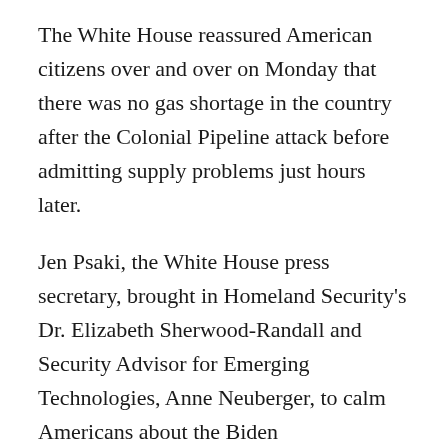The White House reassured American citizens over and over on Monday that there was no gas shortage in the country after the Colonial Pipeline attack before admitting supply problems just hours later.
Jen Psaki, the White House press secretary, brought in Homeland Security's Dr. Elizabeth Sherwood-Randall and Security Advisor for Emerging Technologies, Anne Neuberger, to calm Americans about the Biden administration being on top of the problem, urging everyone to stay calm.
“Right now, there is no supply shortage,” Sherwood-Randall said to reporters at the briefing.